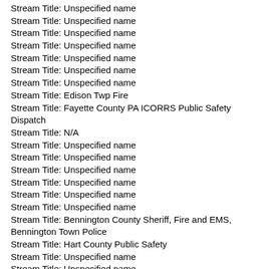Stream Title: Unspecified name
Stream Title: Unspecified name
Stream Title: Unspecified name
Stream Title: Unspecified name
Stream Title: Unspecified name
Stream Title: Unspecified name
Stream Title: Unspecified name
Stream Title: Edison Twp Fire
Stream Title: Fayette County PA ICORRS Public Safety Dispatch
Stream Title: N/A
Stream Title: Unspecified name
Stream Title: Unspecified name
Stream Title: Unspecified name
Stream Title: Unspecified name
Stream Title: Unspecified name
Stream Title: Unspecified name
Stream Title: Bennington County Sheriff, Fire and EMS, Bennington Town Police
Stream Title: Hart County Public Safety
Stream Title: Unspecified name
Stream Title: Unspecified name
Stream Title: Unspecified name
Stream Title: Unspecified name
Stream Title: Unspecified name
Stream Title: Unspecified name